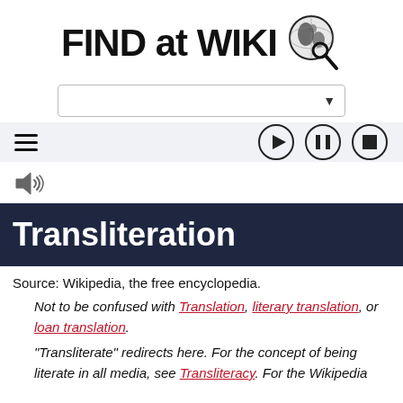[Figure (logo): FIND at WIKI logo with globe and magnifying glass icon]
[Figure (screenshot): Search dropdown bar with arrow]
[Figure (screenshot): Toolbar with hamburger menu and media controls (play, pause, stop)]
[Figure (illustration): Speaker/audio icon]
Transliteration
Source: Wikipedia, the free encyclopedia.
Not to be confused with Translation, literary translation, or loan translation.
"Transliterate" redirects here. For the concept of being literate in all media, see Transliteracy. For the Wikipedia